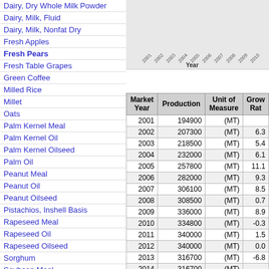Dairy, Dry Whole Milk Powder
Dairy, Milk, Fluid
Dairy, Milk, Nonfat Dry
Fresh Apples
Fresh Pears
Fresh Table Grapes
Green Coffee
Milled Rice
Millet
Oats
Palm Kernel Meal
Palm Kernel Oil
Palm Kernel Oilseed
Palm Oil
Peanut Meal
Peanut Oil
Peanut Oilseed
Pistachios, Inshell Basis
Rapeseed Meal
Rapeseed Oil
Rapeseed Oilseed
Sorghum
Soybean Meal
Soybean Oil
Soybean Oilseed
[Figure (other): Partial chart showing year axis with years 2001-2023 visible at top]
Download to Excel (xls)
| Market Year | Production | Unit of Measure | Growth Rate |
| --- | --- | --- | --- |
| 2001 | 194900 | (MT) |  |
| 2002 | 207300 | (MT) | 6.3 |
| 2003 | 218500 | (MT) | 5.4 |
| 2004 | 232000 | (MT) | 6.1 |
| 2005 | 257800 | (MT) | 11.1 |
| 2006 | 282000 | (MT) | 9.3 |
| 2007 | 306100 | (MT) | 8.5 |
| 2008 | 308500 | (MT) | 0.7 |
| 2009 | 336000 | (MT) | 8.9 |
| 2010 | 334800 | (MT) | -0.3 |
| 2011 | 340000 | (MT) | 1.5 |
| 2012 | 340000 | (MT) | 0.0 |
| 2013 | 316700 | (MT) | -6.8 |
| 2014 | 316700 | (MT) |  |